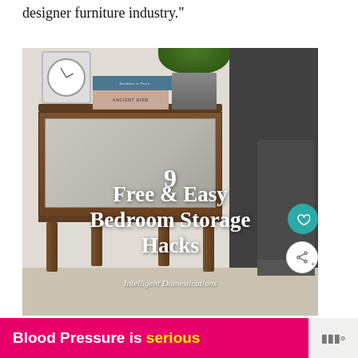designer furniture industry."
[Figure (photo): A modern dark walnut bedside nightstand with tapered legs, a fabric-fronted drawer, topped with a small square analog clock, stacked books (ANCIENT BIRD, Gardens in Paris), and a grey ribbed ceramic pot with a green plant. Text overlay reads '9 Free & Easy Bedroom Storage Hacks' with 'Intelligent Domestications' below. Social buttons (heart, share) on the right edge.]
Blood Pressure is serious